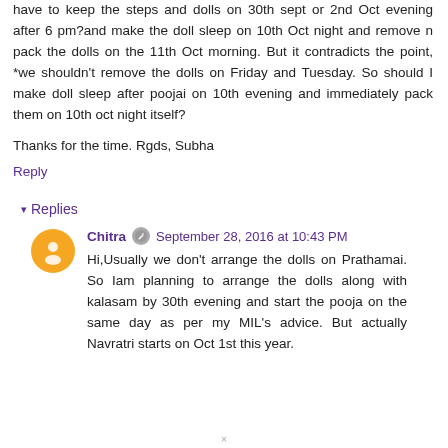have to keep the steps and dolls on 30th sept or 2nd Oct evening after 6 pm?and make the doll sleep on 10th Oct night and remove n pack the dolls on the 11th Oct morning. But it contradicts the point, *we shouldn't remove the dolls on Friday and Tuesday. So should I make doll sleep after poojai on 10th evening and immediately pack them on 10th oct night itself?
Thanks for the time. Rgds, Subha
Reply
Replies
Chitra  September 28, 2016 at 10:43 PM
Hi,Usually we don't arrange the dolls on Prathamai. So Iam planning to arrange the dolls along with kalasam by 30th evening and start the pooja on the same day as per my MIL's advice. But actually Navratri starts on Oct 1st this year.